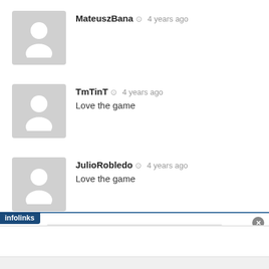[Figure (illustration): User comment by MateuszBana with default avatar, 4 years ago, no comment text visible]
[Figure (illustration): User comment by TmTinT with default avatar, 4 years ago, comment text: Love the game]
Love the game
[Figure (illustration): User comment by JulioRobledo with default avatar, 4 years ago, comment text: Love the game]
Love the game
« Previous  1  2  » Next
infolinks